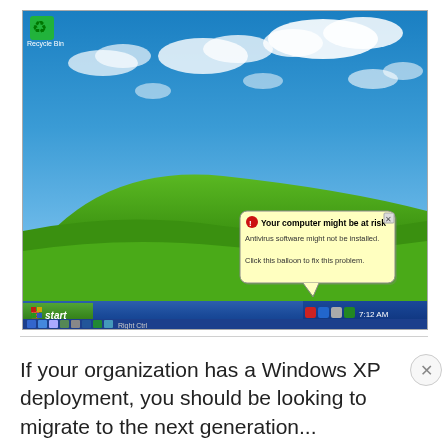[Figure (screenshot): Windows XP desktop screenshot showing the classic Bliss wallpaper (green hill, blue sky with clouds), a Recycle Bin icon in the top-left, the blue taskbar at the bottom with a Start button, system tray showing 7:12 AM, and a balloon notification tooltip reading 'Your computer might be at risk — Antivirus software might not be installed. Click this balloon to fix this problem.']
If your organization has a Windows XP deployment, you should be looking to migrate to the next generation...